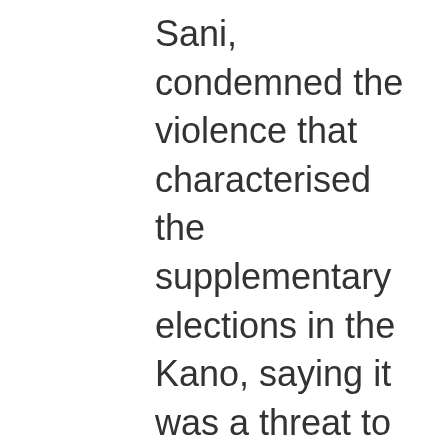Sani, condemned the violence that characterised the supplementary elections in the Kano, saying it was a threat to democracy. In a statement, Sani said politicians must adhere to the tenets of democracy in order to safeguard it. He said: “I am disturbed by reports from a number of